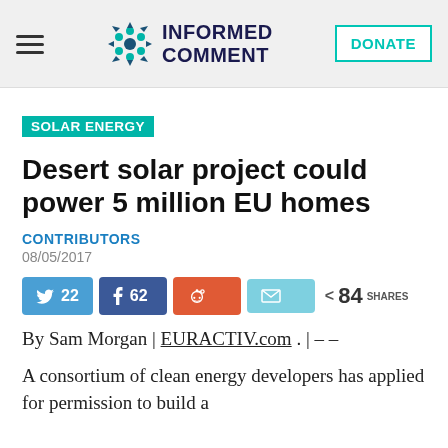INFORMED COMMENT
SOLAR ENERGY
Desert solar project could power 5 million EU homes
CONTRIBUTORS
08/05/2017
22 62 84 SHARES
By Sam Morgan | EURACTIV.com . | – –
A consortium of clean energy developers has applied for permission to build a